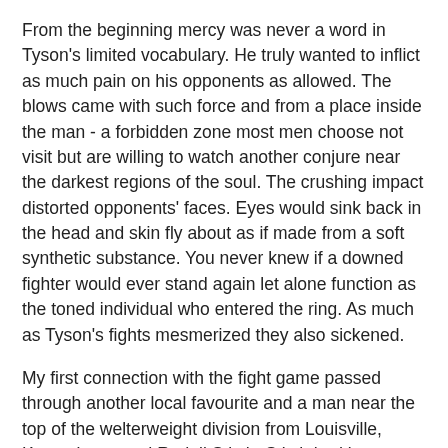From the beginning mercy was never a word in Tyson's limited vocabulary. He truly wanted to inflict as much pain on his opponents as allowed. The blows came with such force and from a place inside the man - a forbidden zone most men choose not visit but are willing to watch another conjure near the darkest regions of the soul. The crushing impact distorted opponents' faces. Eyes would sink back in the head and skin fly about as if made from a soft synthetic substance. You never knew if a downed fighter would ever stand again let alone function as the toned individual who entered the ring. As much as Tyson's fights mesmerized they also sickened.
My first connection with the fight game passed through another local favourite and a man near the top of the welterweight division from Louisville, Kentucky named Rudell Stitch. Stitch had been Kentucky State amateur champion in 1951, 52, 53, 55, and 56. He'd occasionally appear on Friday Night Fights forcing brother Wayne and I into our customary position near the rabbit ears. Oh, how we loathed this gig!
As the months passed and Stitch began to fill out the local